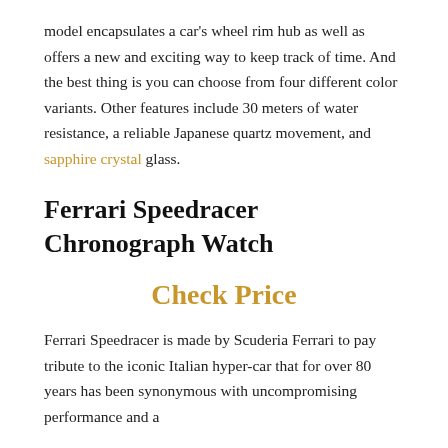model encapsulates a car's wheel rim hub as well as offers a new and exciting way to keep track of time. And the best thing is you can choose from four different color variants. Other features include 30 meters of water resistance, a reliable Japanese quartz movement, and sapphire crystal glass.
Ferrari Speedracer Chronograph Watch
Check Price
Ferrari Speedracer is made by Scuderia Ferrari to pay tribute to the iconic Italian hyper-car that for over 80 years has been synonymous with uncompromising performance and a